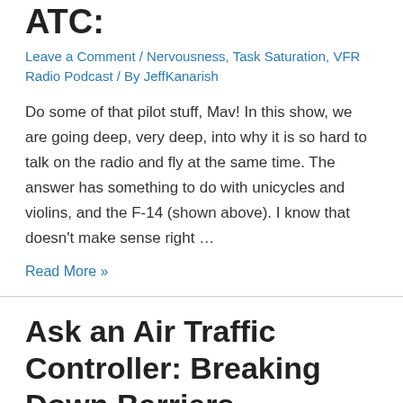ATC:
Leave a Comment / Nervousness, Task Saturation, VFR Radio Podcast / By JeffKanarish
Do some of that pilot stuff, Mav! In this show, we are going deep, very deep, into why it is so hard to talk on the radio and fly at the same time. The answer has something to do with unicycles and violins, and the F-14 (shown above). I know that doesn't make sense right …
Read More »
Ask an Air Traffic Controller: Breaking Down Barriers
4 Comments / Nervousness / By JeffKanarish